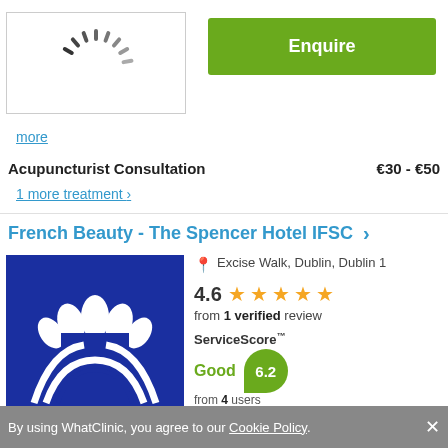[Figure (illustration): Loading spinner / radial lines animation icon inside a bordered box]
Enquire
more
Acupuncturist Consultation   €30 - €50
1 more treatment ›
French Beauty - The Spencer Hotel IFSC ›
[Figure (logo): French Beauty / Spencer Hotel IFSC logo — white floral/lotus motif on dark blue background]
Excise Walk, Dublin, Dublin 1
4.6 ★★★★★ from 1 verified review
ServiceScore™ Good 6.2 from 4 users
By using WhatClinic, you agree to our Cookie Policy. ×